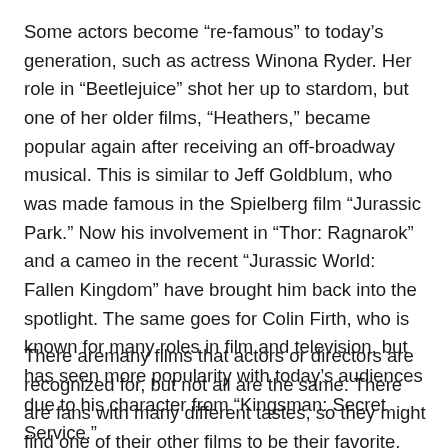Some actors become “re-famous” to today’s generation, such as actress Winona Ryder. Her role in “Beetlejuice” shot her up to stardom, but one of her older films, “Heathers,” became popular again after receiving an off-broadway musical. This is similar to Jeff Goldblum, who was made famous in the Spielberg film “Jurassic Park.” Now his involvement in “Thor: Ragnarok” and a cameo in the recent “Jurassic World: Fallen Kingdom” have brought him back into the spotlight. The same goes for Colin Firth, who is known for many roles in film and television, but has seen more popularity with today’s audiences due to his character from “Kingsman: Secret Service.”
There aremany films that actors or directors are recognized for, but not all are the same. There are fans with many different tastes, so they might find one of their other films to be their favorite.